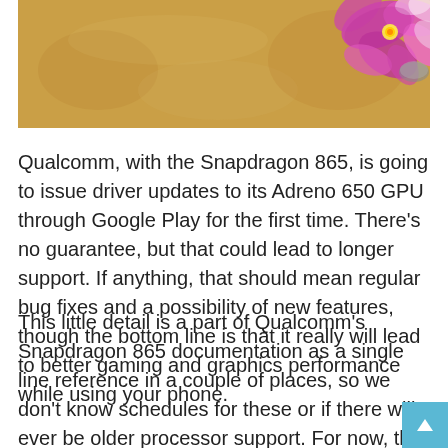[Figure (photo): Photo of pink/purple orchid flowers on sandy beach background]
Qualcomm, with the Snapdragon 865, is going to issue driver updates to its Adreno 650 GPU through Google Play for the first time. There's no guarantee, but that could lead to longer support. If anything, that should mean regular bug fixes and a possibility of new features, though the bottom line is that it really will lead to better gaming and graphics performance while using your phone.
This little detail is a part of Qualcomm's Snapdragon 865 documentation as a single line reference in a couple of places, so we don't know schedules for these or if there will ever be older processor support. For now, the 865 is the first and only processor to do this, but my guess is that we'll see GPU updates through Google Play in a few and former top of…